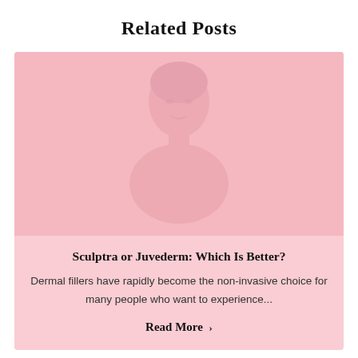Related Posts
[Figure (photo): Pink background card with a faded silhouette of a woman's face/profile as a watermark image]
Sculptra or Juvederm: Which Is Better?
Dermal fillers have rapidly become the non-invasive choice for many people who want to experience...
Read More ›